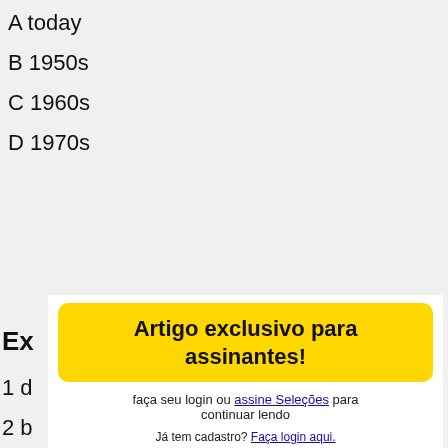A today
B 1950s
C 1960s
D 1970s
Ex
1 d
2 b
3 r
4 p
Ex
1 T
2 C
3 C
Artigo exclusivo para assinantes!
faça seu login ou assine Seleções para continuar lendo
Já tem cadastro? Faça login aqui.
Já sou assinante da Revista Impressa